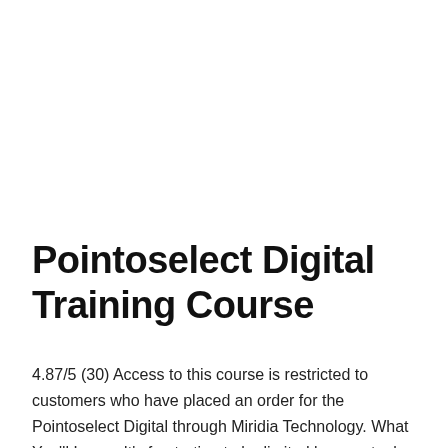Pointoselect Digital Training Course
4.87/5 (30) Access to this course is restricted to customers who have placed an order for the Pointoselect Digital through Miridia Technology. What You'll Learn: It's frustrating to be limited by your tools— and now, you don't have to be. The Pointoselect Digital is the most advanced auriculotherapy